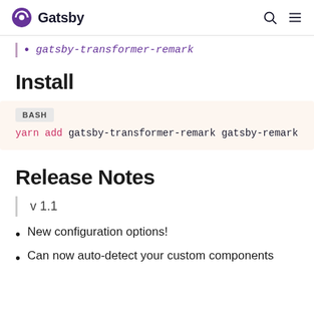Gatsby
gatsby-transformer-remark
Install
BASH
yarn add gatsby-transformer-remark gatsby-remark-com
Release Notes
v 1.1
New configuration options!
Can now auto-detect your custom components